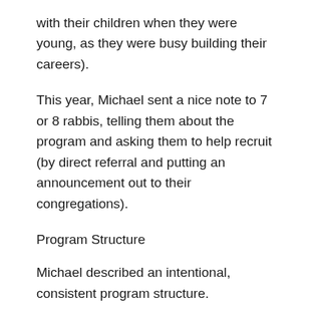with their children when they were young, as they were busy building their careers).
This year, Michael sent a nice note to 7 or 8 rabbis, telling them about the program and asking them to help recruit (by direct referral and putting an announcement out to their congregations).
Program Structure
Michael described an intentional, consistent program structure.
The volunteer comes to the school once a week, and spend two hours in the (same) classroom. He noted that there were requirements for volunteers such as background checks and medical forms.